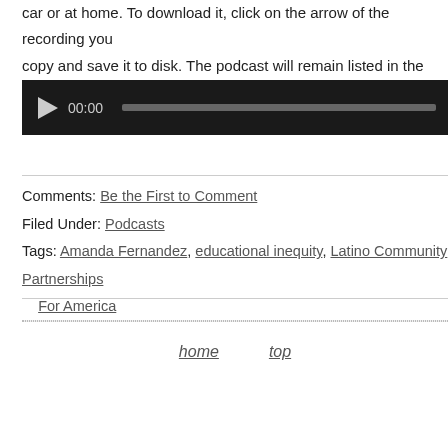car or at home. To download it, click on the arrow of the recording you copy and save it to disk. The podcast will remain listed in the July 2012 of the podcast archive.
[Figure (other): Audio player widget with play button, 00:00 time display, and a progress/seek bar on a dark background]
Comments: Be the First to Comment
Filed Under: Podcasts
Tags: Amanda Fernandez, educational inequity, Latino Community Partnerships For America
home   top